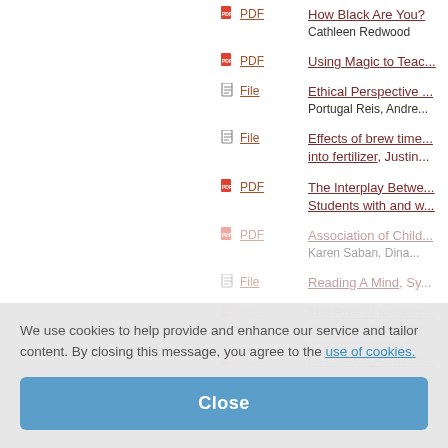PDF | How Black Are You?, Cathleen Redwood
PDF | Using Magic to Teac...
File | Ethical Perspective ..., Portugal Reis, Andre...
File | Effects of brew time... into fertilizer, Justin...
PDF | The Interplay Betwe... Students with and w...
PDF | Association of Child..., Karen Saban, Dina...
File | Reading A Mind, Sy...
PDF | The Role of Identificatio... Collective Action, Ef...
PDF | Medication Administ...
We use cookies to help provide and enhance our service and tailor content. By closing this message, you agree to the use of cookies.
Close